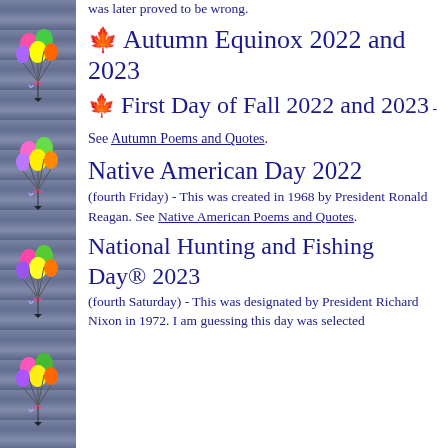was later proved to be wrong.
🍁 Autumn Equinox 2022 and 2023
🍁 First Day of Fall 2022 and 2023 - See Autumn Poems and Quotes.
Native American Day 2022
(fourth Friday) - This was created in 1968 by President Ronald Reagan. See Native American Poems and Quotes.
National Hunting and Fishing Day® 2023
(fourth Saturday) - This was designated by President Richard Nixon in 1972. I am guessing this day was selected